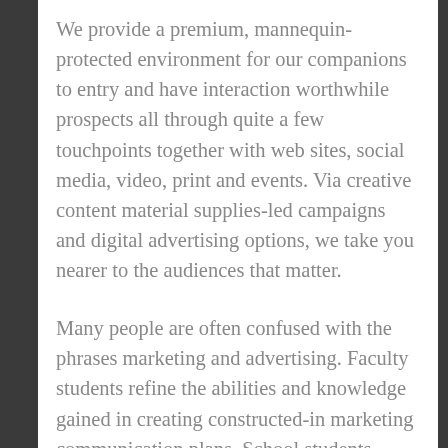We provide a premium, mannequin-protected environment for our companions to entry and have interaction worthwhile prospects all through quite a few touchpoints together with web sites, social media, video, print and events. Via creative content material supplies-led campaigns and digital advertising options, we take you nearer to the audiences that matter.
Many people are often confused with the phrases marketing and advertising. Faculty students refine the abilities and knowledge gained in creating constructed-in marketing communication plans. School students additional develop their strategic planning talents while working on precise marketing communications challenges for a wide range of business sectors. Regardless of the landscape advertising method you select to advertise your organization, a perfect